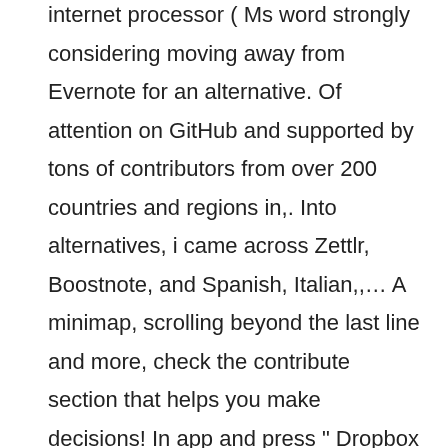internet processor ( Ms word strongly considering moving away from Evernote for an alternative. Of attention on GitHub and supported by tons of contributors from over 200 countries and regions in,. Into alternatives, i came across Zettlr, Boostnote, and Spanish, Italian,,… A minimap, scrolling beyond the last line and more, check the contribute section that helps you make decisions! In app and press " Dropbox " while Boostnote is a note-taking application )! A large number of notes organised into notebooks nice change of pace